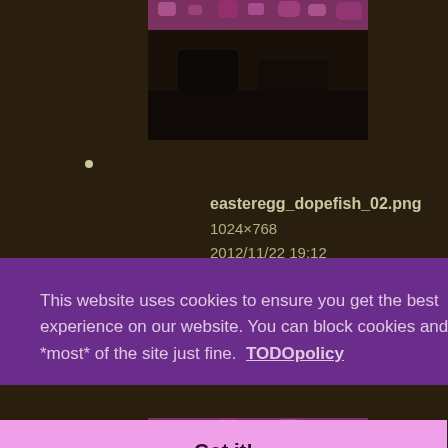[Figure (photo): Thumbnail image of easteregg_dopefish_02.png showing dark scene with pink floral pattern at top]
•
easteregg_dopefish_02.png
1024×768
2012/11/22 19:12
541.7 KB
[Figure (photo): Thumbnail image partially visible, dark scene with pink pattern at top]
This website uses cookies to ensure you get the best experience on our website. You can block cookies and use *most* of the site just fine. TODOpolicy
Got it!
easteregg_dopefish_04.png